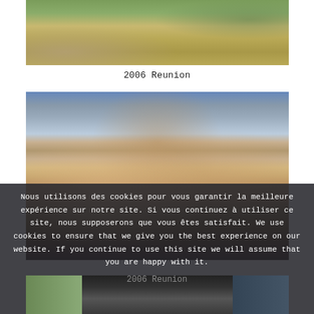[Figure (photo): Outdoor field scene with people on grass, viewed from above, partial crop]
2006 Reunion
[Figure (photo): Crowd of people with raised hands, group celebration or reunion photo]
Nous utilisons des cookies pour vous garantir la meilleure expérience sur notre site. Si vous continuez à utiliser ce site, nous supposerons que vous êtes satisfait. We use cookies to ensure that we give you the best experience on our website. If you continue to use this site we will assume that you are happy with it.
2006 Reunion
cliquez ici pour fermer – click here to close
[Figure (photo): Partial bottom photo strip, dark tones]